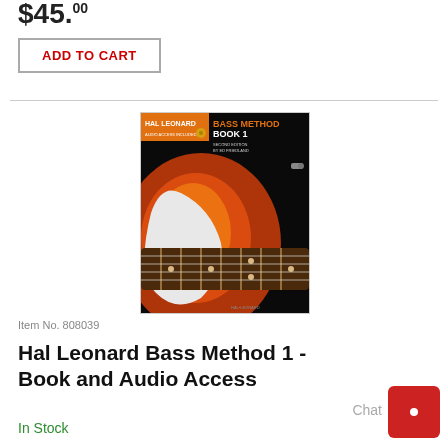$45.00
ADD TO CART
[Figure (photo): Book cover: Hal Leonard Bass Method Book 1, showing a sunburst electric bass guitar on black background]
Item No. 808039
Hal Leonard Bass Method 1 - Book and Audio Access
In Stock